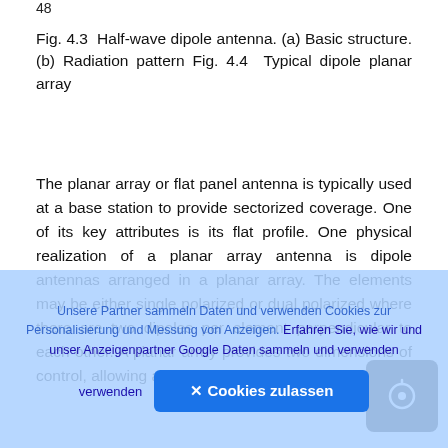48
Fig. 4.3 Half-wave dipole antenna. (a) Basic structure. (b) Radiation pattern Fig. 4.4 Typical dipole planar array
The planar array or flat panel antenna is typically used at a base station to provide sectorized coverage. One of its key attributes is its flat profile. One physical realization of a planar array antenna is dipole antennas arranged in a planar array. The elements may be either single polarized or dual polarized where there are two dipoles per element perpendicular to each other. A planar array provides two dimensions of control, allowing a